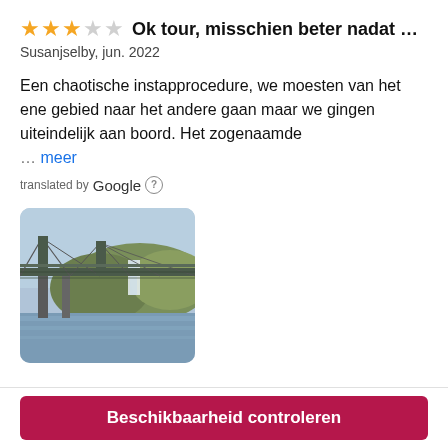Ok tour, misschien beter nadat alle c…
Susanjselby, jun. 2022
Een chaotische instapprocedure, we moesten van het ene gebied naar het andere gaan maar we gingen uiteindelijk aan boord. Het zogenaamde … meer
translated by Google
[Figure (photo): Photo of a bridge over water with a waterfall and forested hills in the background]
Beschikbaarheid controleren